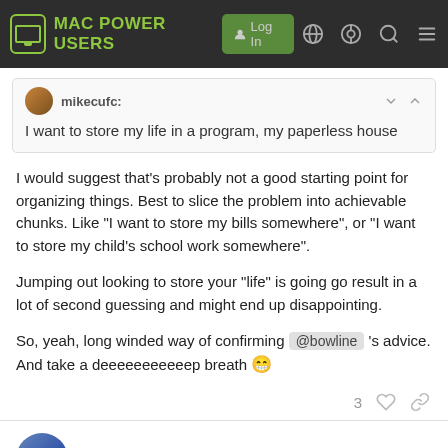MAC POWER USERS
mikecufc: I want to store my life in a program, my paperless house
I would suggest that's probably not a good starting point for organizing things. Best to slice the problem into achievable chunks. Like "I want to store my bills somewhere", or "I want to store my child's school work somewhere".
Jumping out looking to store your “life” is going go result in a lot of second guessing and might end up disappointing.
So, yeah, long winded way of confirming @bowline 's advice. And take a deeeeeeeeeeep breath 😁
TudorEynon 3 / 24